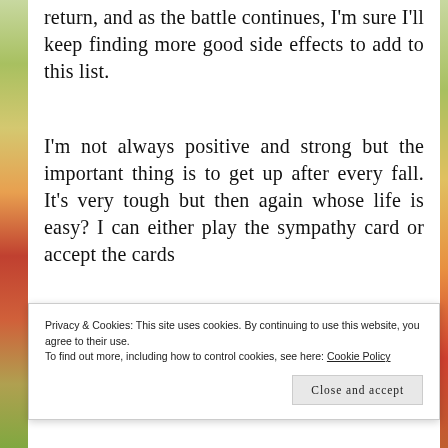return, and as the battle continues, I'm sure I'll keep finding more good side effects to add to this list.
I'm not always positive and strong but the important thing is to get up after every fall. It's very tough but then again whose life is easy? I can either play the sympathy card or accept the cards that…
Privacy & Cookies: This site uses cookies. By continuing to use this website, you agree to their use.
To find out more, including how to control cookies, see here: Cookie Policy
Close and accept